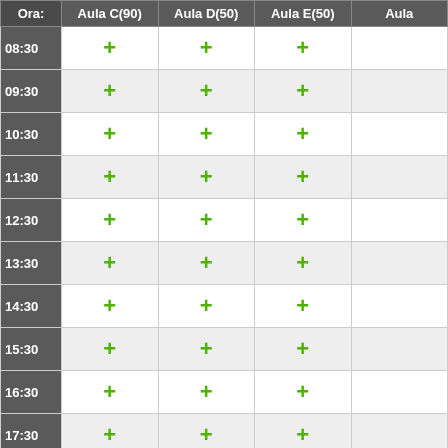| Ora: | Aula C(90) | Aula D(50) | Aula E(50) | Aula… |
| --- | --- | --- | --- | --- |
| 08:30 | + | + | + |  |
| 09:30 | + | + | + |  |
| 10:30 | + | + | + |  |
| 11:30 | + | + | + |  |
| 12:30 | + | + | + |  |
| 13:30 | + | + | + |  |
| 14:30 | + | + | + |  |
| 15:30 | + | + | + |  |
| 16:30 | + | + | + |  |
| 17:30 | + | + | + |  |
| 18:30 | + | + | + |  |
Legend: Seminario | Chiuso | Convegno | Lezioni | Vacanza | Riunione | Esami | Master | CEL | Esterno
Vedi Giorno: 25 Nov | 26 Nov | 27 Nov | 28 Nov | 29 Nov | 30 Nov | 01
Vedi Settimana: 30 Oct | 06 Nov | 13 Nov | 20 Nov | 27 Nov | 04 Dec |
Vedi Mese: Oct 2017 | Nov 2017 | Dec 2017 | Jan 2018 | Feb 2018 | Ma…
Au…